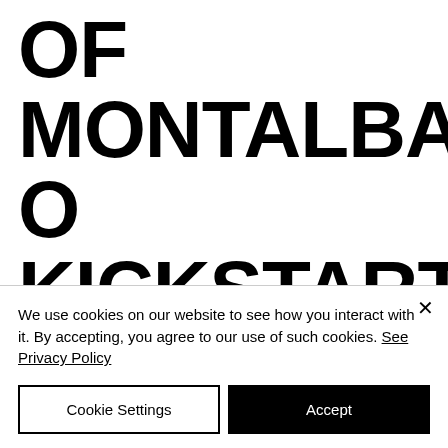OF MONTALBANO KICKSTARTER POST-PARTUM
We've recently (as in at the time of
We use cookies on our website to see how you interact with it. By accepting, you agree to our use of such cookies. See Privacy Policy
Cookie Settings
Accept